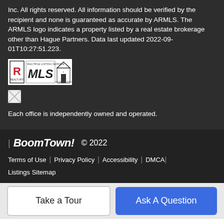Inc. All rights reserved. All information should be verified by the recipient and none is guaranteed as accurate by ARMLS. The ARMLS logo indicates a property listed by a real estate brokerage other than Hague Partners. Data last updated 2022-09-01T10:27:51.223.
[Figure (logo): Realtor MLS and Equal Housing Opportunity logos]
[Figure (logo): Small broken/placeholder image icon]
Each office is independently owned and operated.
| BoomTown! © 2022 Terms of Use | Privacy Policy | Accessibility | DMCA | Listings Sitemap
Take a Tour
Ask A Question